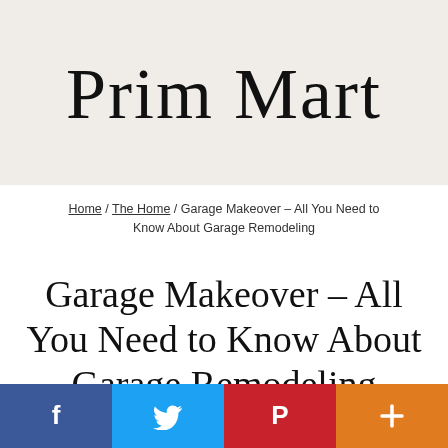[Figure (logo): Prim Mart cursive/script handwritten logo on a beige/cream background]
Home / The Home / Garage Makeover – All You Need to Know About Garage Remodeling
Garage Makeover – All You Need to Know About Garage Remodeling
[Figure (infographic): Social sharing bar with Facebook (blue), Twitter (light blue), Pinterest (red), and a plus/more button (orange)]